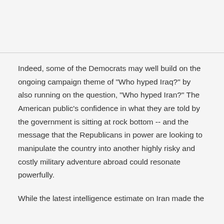Indeed, some of the Democrats may well build on the ongoing campaign theme of "Who hyped Iraq?" by also running on the question, "Who hyped Iran?" The American public's confidence in what they are told by the government is sitting at rock bottom -- and the message that the Republicans in power are looking to manipulate the country into another highly risky and costly military adventure abroad could resonate powerfully.
While the latest intelligence estimate on Iran made the